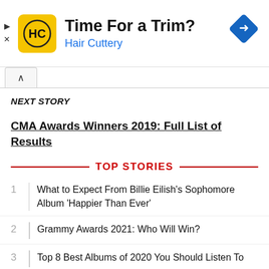[Figure (other): Advertisement banner for Hair Cuttery with yellow HC logo, text 'Time For a Trim?' and blue navigation arrow icon]
NEXT STORY
CMA Awards Winners 2019: Full List of Results
TOP STORIES
1 What to Expect From Billie Eilish's Sophomore Album 'Happier Than Ever'
2 Grammy Awards 2021: Who Will Win?
3 Top 8 Best Albums of 2020 You Should Listen To